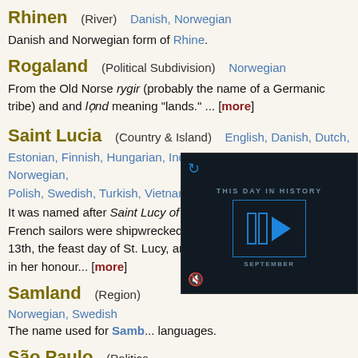Rhinen (River) Danish, Norwegian — Danish and Norwegian form of Rhine.
Rogaland (Political Subdivision) Norwegian — From the Old Norse rygir (probably the name of a Germanic tribe) and and lond meaning "lands." ... [more]
Saint Lucia (Country & Island) English, Danish, Dutch, Estonian, Finnish, Hungarian, Indonesian, Italian, Malay, Norwegian, Polish, Swedish, Turkish, Vietnamese — It was named after Saint Lucy of Syracuse, Legend states that French sailors were shipwrecked on the island on December 13th, the feast day of St. Lucy, and therefore named the island in her honour... [more]
Samland (Region) Norwegian, Swedish — The name used for Samb... languages.
São Paulo (Politica... English, French, Germa...
[Figure (screenshot): Video overlay showing 'THIS DAY IN HISTORY' with a play button icon and 'SEPTEMBER' text on a dark background, with a mute icon in the lower left.]